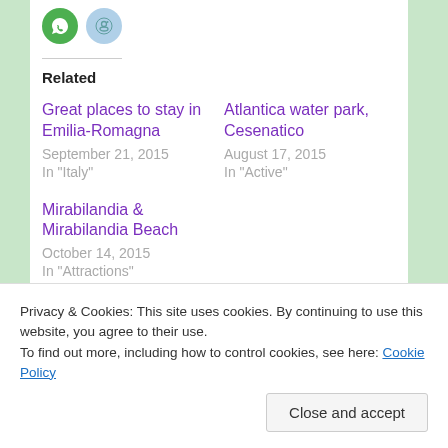[Figure (other): Social share icons: WhatsApp (green circle) and Reddit (light blue circle)]
Related
Great places to stay in Emilia-Romagna
September 21, 2015
In "Italy"
Atlantica water park, Cesenatico
August 17, 2015
In "Active"
Mirabilandia & Mirabilandia Beach
October 14, 2015
In "Attractions"
Privacy & Cookies: This site uses cookies. By continuing to use this website, you agree to their use.
To find out more, including how to control cookies, see here: Cookie Policy